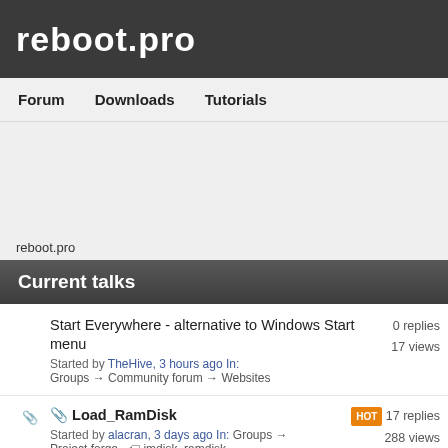reboot.pro
Forum  Downloads  Tutorials
reboot.pro
Current talks
Start Everywhere - alternative to Windows Start menu
Started by TheHive, 3 hours ago In: Groups → Community forum → Websites
0 replies  17 views
Load_RamDisk
Started by alacran, 3 days ago In: Groups → Project forge  imdisk, ramdisk
HOT  17 replies  288 views